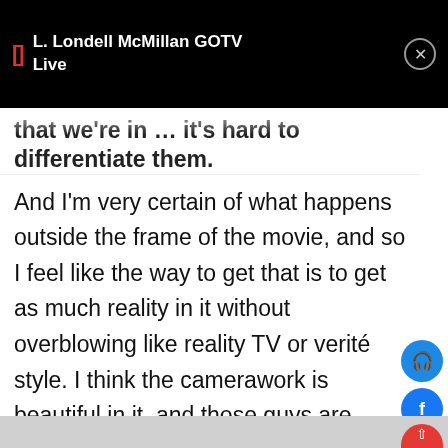L. Londell McMillan GOTV Live
that we're in … it's hard to differentiate them.
And I'm very certain of what happens outside the frame of the movie, and so I feel like the way to get that is to get as much reality in it without overblowing like reality TV or verite style. I think the camerawork is beautiful in it, and those guys are amazing – but I didn't want it to call attention to itself. So I didn't